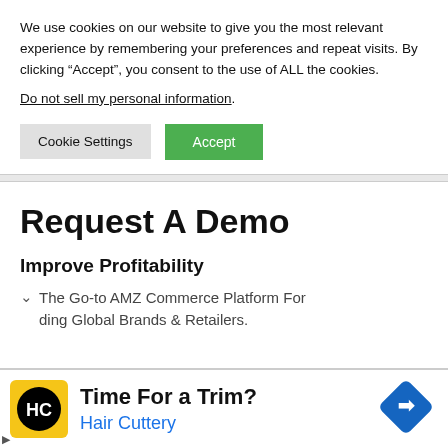We use cookies on our website to give you the most relevant experience by remembering your preferences and repeat visits. By clicking “Accept”, you consent to the use of ALL the cookies.
Do not sell my personal information.
Cookie Settings
Accept
Request A Demo
Improve Profitability
The Go-to AMZ Commerce Platform For ding Global Brands & Retailers.
[Figure (logo): Hair Cuttery logo - yellow square with HC initials in black circle]
Time For a Trim? Hair Cuttery